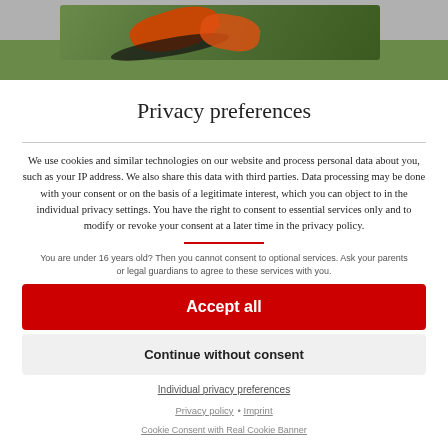[Figure (photo): Photo strip showing a lawn mower or agricultural equipment on grass, partially cropped at top of page]
Privacy preferences
We use cookies and similar technologies on our website and process personal data about you, such as your IP address. We also share this data with third parties. Data processing may be done with your consent or on the basis of a legitimate interest, which you can object to in the individual privacy settings. You have the right to consent to essential services only and to modify or revoke your consent at a later time in the privacy policy.
You are under 16 years old? Then you cannot consent to optional services. Ask your parents or legal guardians to agree to these services with you.
Accept all
Continue without consent
Individual privacy preferences
Privacy policy • Imprint
Cookie Consent with Real Cookie Banner